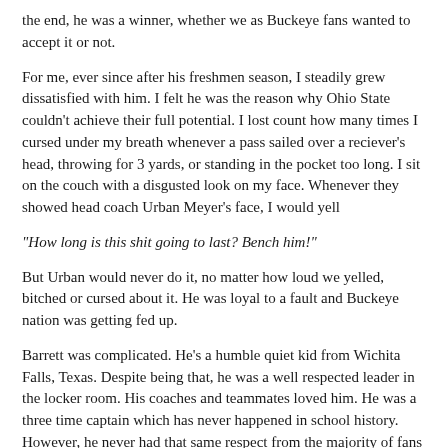the end, he was a winner, whether we as Buckeye fans wanted to accept it or not.
For me, ever since after his freshmen season, I steadily grew dissatisfied with him. I felt he was the reason why Ohio State couldn't achieve their full potential. I lost count how many times I cursed under my breath whenever a pass sailed over a reciever's head, throwing for 3 yards, or standing in the pocket too long. I sit on the couch with a disgusted look on my face. Whenever they showed head coach Urban Meyer's face, I would yell
"How long is this shit going to last? Bench him!"
But Urban would never do it, no matter how loud we yelled, bitched or cursed about it. He was loyal to a fault and Buckeye nation was getting fed up.
Barrett was complicated. He's a humble quiet kid from Wichita Falls, Texas. Despite being that, he was a well respected leader in the locker room. His coaches and teammates loved him. He was a three time captain which has never happened in school history. However, he never had that same respect from the majority of fans who over the past two years started to sour on his performances on the field, especially in big games. Many felt he regressed as time went on.